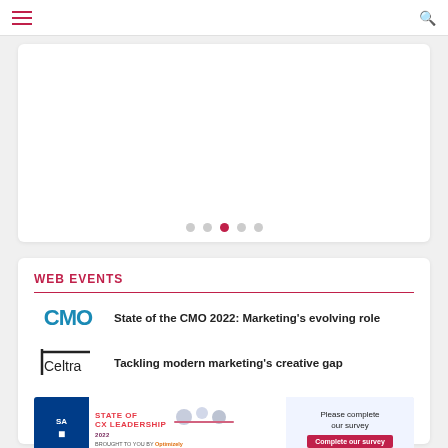Navigation bar with hamburger menu and search icon
[Figure (other): Carousel card with pagination dots, third dot active]
WEB EVENTS
[Figure (logo): CMO logo in blue]
State of the CMO 2022: Marketing's evolving role
[Figure (logo): Celtra logo with vertical bar]
Tackling modern marketing's creative gap
[Figure (screenshot): Advertisement banner: STATE OF CX LEADERSHIP 2022 brought to you by Optimizely - Please complete our survey - Complete our survey button]